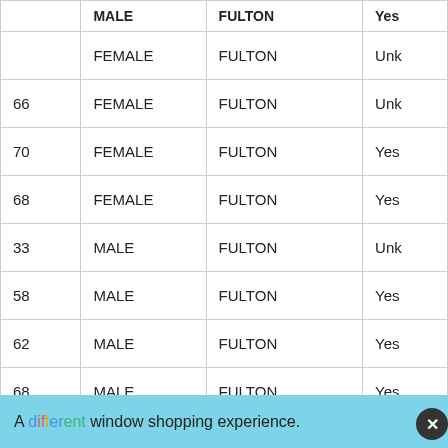|  | MALE | FULTON | Yes |
| --- | --- | --- | --- |
|  | FEMALE | FULTON | Unk |
| 66 | FEMALE | FULTON | Unk |
| 70 | FEMALE | FULTON | Yes |
| 68 | FEMALE | FULTON | Yes |
| 33 | MALE | FULTON | Unk |
| 58 | MALE | FULTON | Yes |
| 62 | MALE | FULTON | Yes |
| 68 | MALE | FULTON | Yes |
A different window shopping experience.